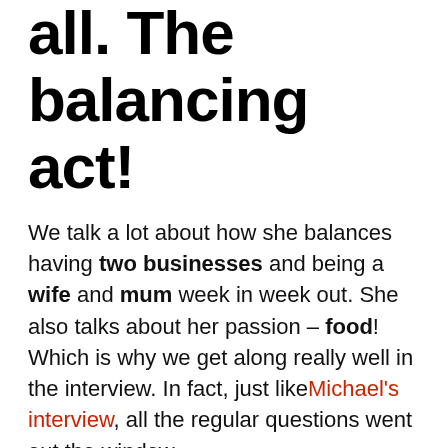all. The balancing act!
We talk a lot about how she balances having two businesses and being a wife and mum week in week out. She also talks about her passion – food! Which is why we get along really well in the interview. In fact, just like Michael's interview, all the regular questions went out the window.
We talk in detail about how every woman can have it all – health, wealth and vitality. We talk about women and the challenges women face when it comes to food and healthy eating. How guilt plays such a huge emotional consequence in our lives. Leandra goes into detail talking about how listening to your body and why you are craving certain foods. How to find the substitutes to make